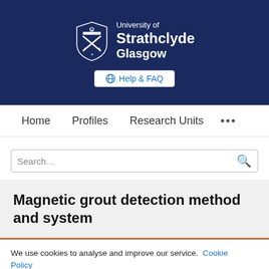[Figure (logo): University of Strathclyde Glasgow logo with shield emblem on dark navy background]
Help & FAQ
Home   Profiles   Research Units   ...
Search...
Magnetic grout detection method and system
We use cookies to analyse and improve our service. Cookie Policy